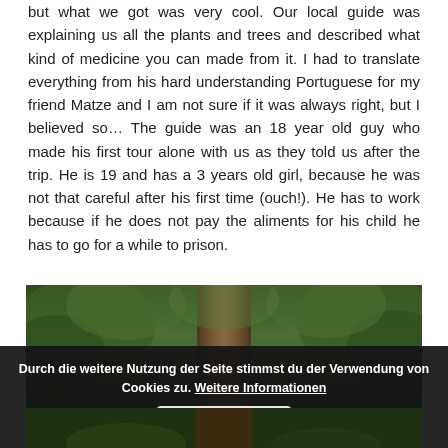but what we got was very cool. Our local guide was explaining us all the plants and trees and described what kind of medicine you can made from it. I had to translate everything from his hard understanding Portuguese for my friend Matze and I am not sure if it was always right, but I believed so… The guide was an 18 year old guy who made his first tour alone with us as they told us after the trip. He is 19 and has a 3 years old girl, because he was not that careful after his first time (ouch!). He has to work because if he does not pay the aliments for his child he has to go for a while to prison.
[Figure (photo): Forest scene with a large tree trunk in the center, surrounded by green foliage and trees]
Durch die weitere Nutzung der Seite stimmst du der Verwendung von Cookies zu. Weitere Informationen   Akzeptieren